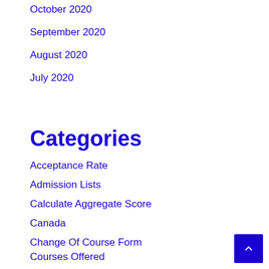October 2020
September 2020
August 2020
July 2020
Categories
Acceptance Rate
Admission Lists
Calculate Aggregate Score
Canada
Change Of Course Form
Courses Offered
Departmental Cut Off Marks